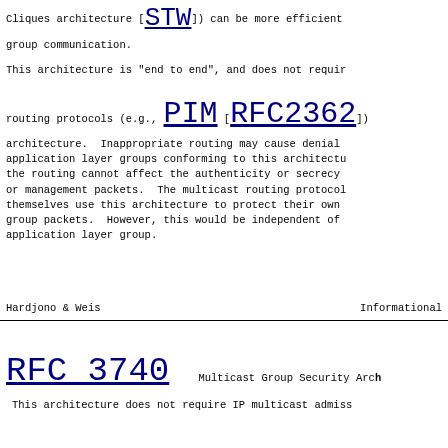Cliques architecture [STW]) can be more efficient group communication.
This architecture is "end to end", and does not require routing protocols (e.g., PIM [RFC2362]) architecture.  Inappropriate routing may cause denial application layer groups conforming to this architecture the routing cannot affect the authenticity or secrecy or management packets.  The multicast routing protocols themselves use this architecture to protect their own group packets.  However, this would be independent of application layer group.
Hardjono & Weis                  Informational
RFC 3740          Multicast Group Security Arch
This architecture does not require IP multicast admiss